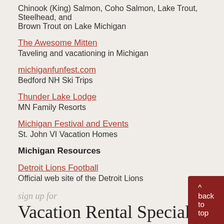Chinook (King) Salmon, Coho Salmon, Lake Trout, Steelhead, and Brown Trout on Lake Michigan
The Awesome Mitten
Taveling and vacationing in Michigan
michiganfunfest.com
Bedford NH Ski Trips
Thunder Lake Lodge
MN Family Resorts
Michigan Festival and Events
St. John VI Vacation Homes
Michigan Resources
Detroit Lions Football
Official web site of the Detroit Lions
sign up for
Vacation Rental Specials
Monthly newsletter and other surprises.
Subscribe
^ back to top